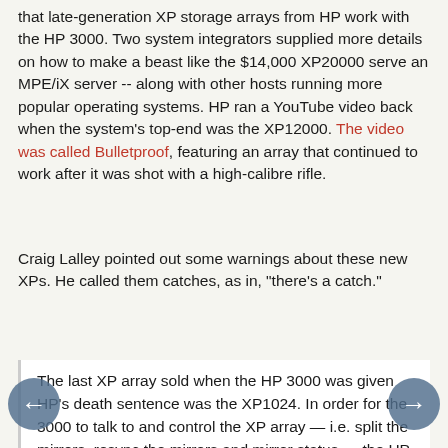that late-generation XP storage arrays from HP work with the HP 3000. Two system integrators supplied more details on how to make a beast like the $14,000 XP20000 serve an MPE/iX server -- along with other hosts running more popular operating systems. HP ran a YouTube video back when the system's top-end was the XP12000. The video was called Bulletproof, featuring an array that continued to work after it was shot with a high-calibre rifle.
Craig Lalley pointed out some warnings about these new XPs. He called them catches, as in, "there's a catch."
The last XP array sold when the HP 3000 was given HP's death sentence was the XP1024. In order for the 3000 to talk to and control the XP array — i.e. split the mirrors, resync the mirrors and mirror status — the HP server uses a piece of software called RaidMgr. It is on every HP 3000, and it goes out with Posix. You find it in the account /tmp/raidmgr